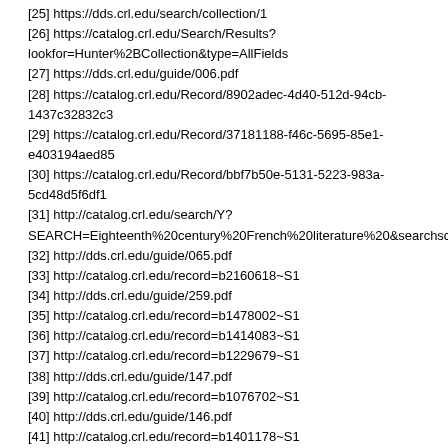[25] https://dds.crl.edu/search/collection/1
[26] https://catalog.crl.edu/Search/Results?lookfor=Hunter%2BCollection&type=AllFields
[27] https://dds.crl.edu/guide/006.pdf
[28] https://catalog.crl.edu/Record/8902adec-4d40-512d-94cb-1437c32832c3
[29] https://catalog.crl.edu/Record/37181188-f46c-5695-85e1-e403194aed85
[30] https://catalog.crl.edu/Record/bbf7b50e-5131-5223-983a-5cd48d5f6df1
[31] http://catalog.crl.edu/search/Y?SEARCH=Eighteenth%20century%20French%20literature%20&searchsco
[32] http://dds.crl.edu/guide/065.pdf
[33] http://catalog.crl.edu/record=b2160618~S1
[34] http://dds.crl.edu/guide/259.pdf
[35] http://catalog.crl.edu/record=b1478002~S1
[36] http://catalog.crl.edu/record=b1414083~S1
[37] http://catalog.crl.edu/record=b1229679~S1
[38] http://dds.crl.edu/guide/147.pdf
[39] http://catalog.crl.edu/record=b1076702~S1
[40] http://dds.crl.edu/guide/146.pdf
[41] http://catalog.crl.edu/record=b1401178~S1
[42] https://catalog.crl.edu/Record/b7dcacbc-c2bf-599b-ace6-8acd3ddb4b71
[43] https://catalog.crl.edu/Record/6d40b3cc-9a17-5413-ad0c-9d9dbc9f9fce
[44] https://catalog.crl.edu/Record/3d8dc1a4-e843-57f7-b29b-efe3556160eb
[45] https://catalog.crl.edu/Search/Results?lookfor=Kugo%20kungmunhak%20charyo%20chongso.&type=Title